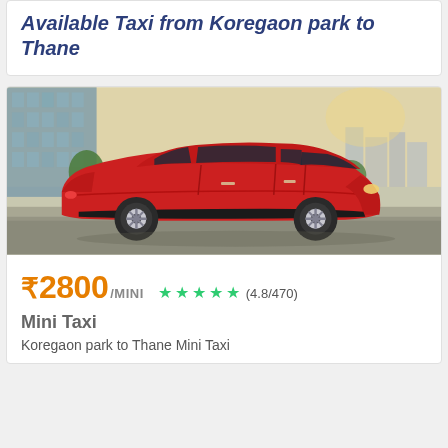Available Taxi from Koregaon park to Thane
[Figure (photo): Red compact hatchback car (Hyundai i10 or similar) parked sideways, showing left side profile, with urban/glass building background.]
₹2800 /MINI ★★★★★ (4.8/470)
Mini Taxi
Koregaon park to Thane Mini Taxi